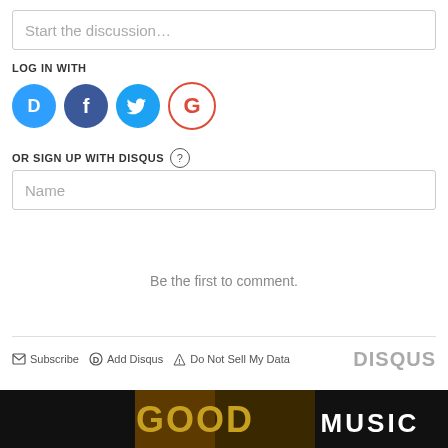Start the discussion…
LOG IN WITH
[Figure (logo): Social login icons: Disqus (D), Facebook (f), Twitter bird, Google (G)]
OR SIGN UP WITH DISQUS ?
Name
Be the first to comment.
Subscribe  Add Disqus  Do Not Sell My Data   DISQUS